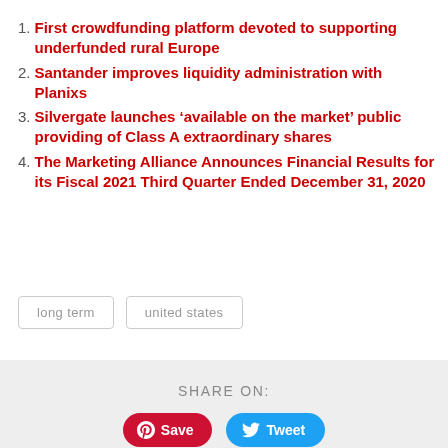1. First crowdfunding platform devoted to supporting underfunded rural Europe
2. Santander improves liquidity administration with Planixs
3. Silvergate launches ‘available on the market’ public providing of Class A extraordinary shares
4. The Marketing Alliance Announces Financial Results for its Fiscal 2021 Third Quarter Ended December 31, 2020
long term
united states
SHARE ON: